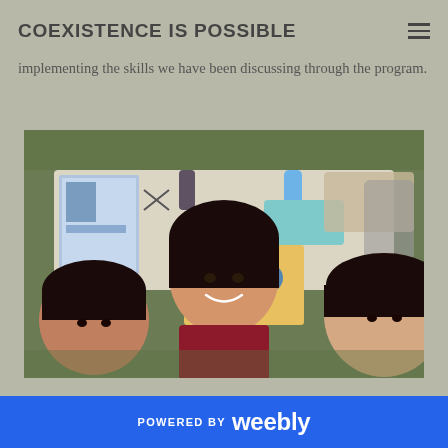COEXISTENCE IS POSSIBLE
implementing the skills we have been discussing through the program.
[Figure (photo): Three young women smiling at an outdoor event table with pamphlets, scissors, tape, and printed materials spread on the table; grass visible in background.]
POWERED BY weebly